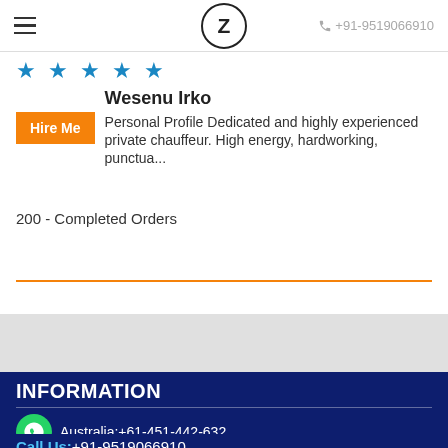≡  Z  +91-9519066910
★★★★★
Wesenu Irko — Hire Me — Personal Profile Dedicated and highly experienced private chauffeur. High energy, hardworking, punctua...
200 - Completed Orders
INFORMATION
Australia:+61-451-442-632
Call Us:+91-9519066910
WhatsApp:+91-9519066910